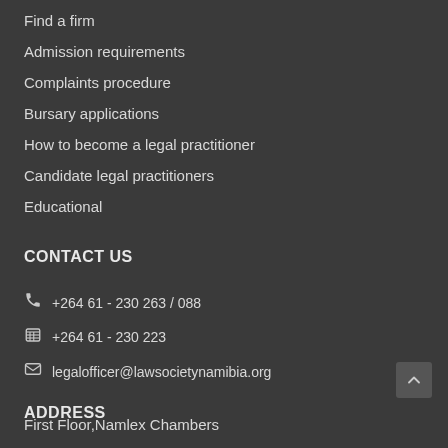Find a firm
Admission requirements
Complaints procedure
Bursary applications
How to become a legal practitioner
Candidate legal practitioners
Educational
CONTACT US
+264 61 - 230 263 / 088
+264 61 - 230 223
legalofficer@lawsocietynamibia.org
ADDRESS
First Floor,Namlex Chambers